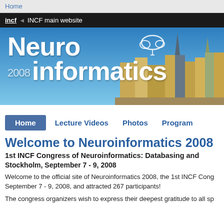Home
incf  INCF main website
[Figure (illustration): Neuroinformatics 2008 conference banner with blue sky background, city skyline of Stockholm on the right, and large white text reading 'Neuro informatics 2008' with a brain icon]
Home   Lecture Videos   Photos   Program
Welcome to Neuroinformatics 2008
1st INCF Congress of Neuroinformatics: Databasing and
Stockholm, September 7 - 9, 2008
Welcome to the official site of Neuroinformatics 2008, the 1st INCF Cong September 7 - 9, 2008, and attracted 267 participants!
The congress organizers wish to express their deepest gratitude to all sp